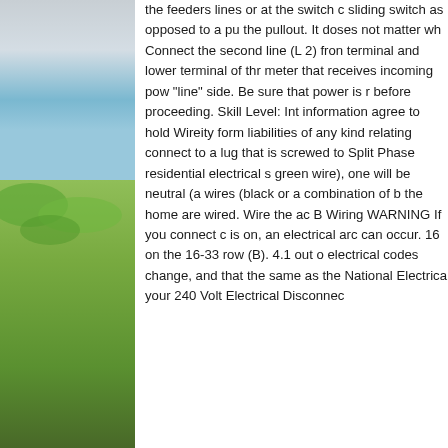[Figure (photo): Outdoor nature photo showing sky and green grass/field on the left side of the page]
the feeders lines or at the switch c sliding switch as opposed to a pu the pullout. It doses not matter wh Connect the second line (L 2) fron terminal and lower terminal of thr meter that receives incoming pow "line" side. Be sure that power is r before proceeding. Skill Level: Int information agree to hold Wureity form liabilities of any kind relating connect to a lug that is screwed to Split Phase residential electrical s green wire), one will be neutral (a wires (black or a combination of b the home are wired. Wire the ac B Wiring WARNING If you connect c is on, an electrical arc can occur. 16 on the 16-33 row (B). 4.1 out o electrical codes change, and that the same as the National Electrica your 240 Volt Electrical Disconnec